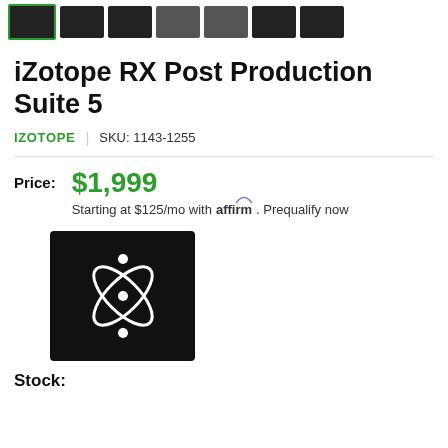[Figure (screenshot): Row of product thumbnail images, first one selected with green border]
iZotope RX Post Production Suite 5
IZOTOPE | SKU: 1143-1255
Price: $1,999 Starting at $125/mo with affirm. Prequalify now
[Figure (logo): iZotope logo - white abstract atomic/electron orbit design on black background]
Stock: